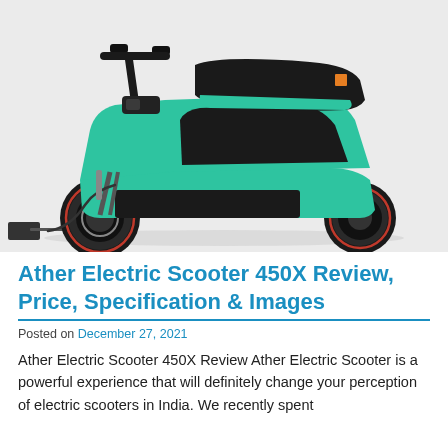[Figure (photo): A teal/turquoise Ather Electric Scooter 450X on a light grey background, shown from the side, with a charging cable plugged in at the bottom left. The scooter has black accents, a dark seat, and dark rims with red stripe detailing.]
Ather Electric Scooter 450X Review, Price, Specification & Images
Posted on December 27, 2021
Ather Electric Scooter 450X Review Ather Electric Scooter is a powerful experience that will definitely change your perception of electric scooters in India. We recently spent